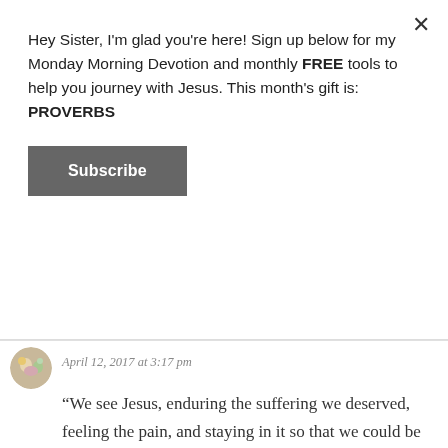Hey Sister, I'm glad you're here! Sign up below for my Monday Morning Devotion and monthly FREE tools to help you journey with Jesus. This month's gift is: PROVERBS
Subscribe
April 12, 2017 at 3:17 pm
“We see Jesus, enduring the suffering we deserved, feeling the pain, and staying in it so that we could be free and invited to live free of the curse of death and sin humanity was once held captive to . We don’t have to enter into his presence after killing an innocent animal or going through a ceremonial cleansing. This alone should make our hearts swell with a love for him that moves us to be willing to do